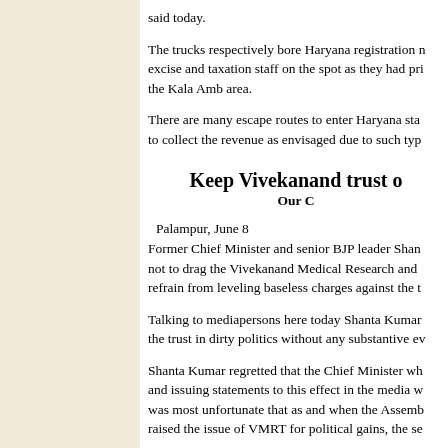said today.
The trucks respectively bore Haryana registration n... excise and taxation staff on the spot as they had pri... the Kala Amb area.
There are many escape routes to enter Haryana sta... to collect the revenue as envisaged due to such typ...
Keep Vivekanand trust o...
Our C...
Palampur, June 8
Former Chief Minister and senior BJP leader Shan... not to drag the Vivekanand Medical Research and ... refrain from leveling baseless charges against the t...
Talking to mediapersons here today Shanta Kumar... the trust in dirty politics without any substantive ev...
Shanta Kumar regretted that the Chief Minister wh... and issuing statements to this effect in the media w... was most unfortunate that as and when the Assemb... raised the issue of VMRT for political gains, the se...